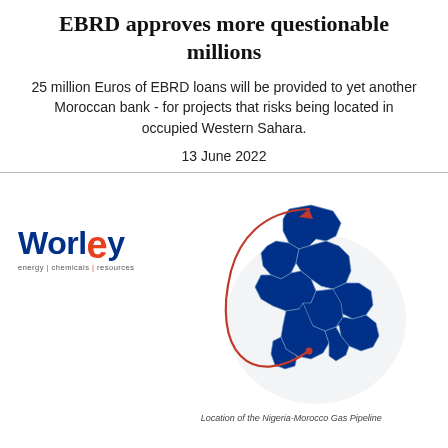EBRD approves more questionable millions
25 million Euros of EBRD loans will be provided to yet another Moroccan bank - for projects that risks being located in occupied Western Sahara.
13 June 2022
[Figure (logo): Worley company logo with tagline 'energy | chemicals | resources']
[Figure (map): Map showing the location of the Nigeria-Morocco Gas Pipeline, depicting blue shaded African countries along the pipeline route with a red curved arrow from Nigeria northward to Morocco.]
Location of the Nigeria-Morocco Gas Pipeline